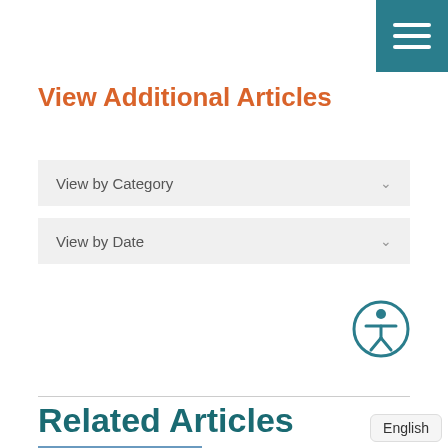View Additional Articles
View by Category
View by Date
[Figure (illustration): Accessibility icon: circular teal icon with person symbol]
Related Articles
[Figure (photo): Photo of woman in white coat standing next to a Champions for Health van outdoors]
Grossmont Healthcare Dist... Partners with Lo...
English